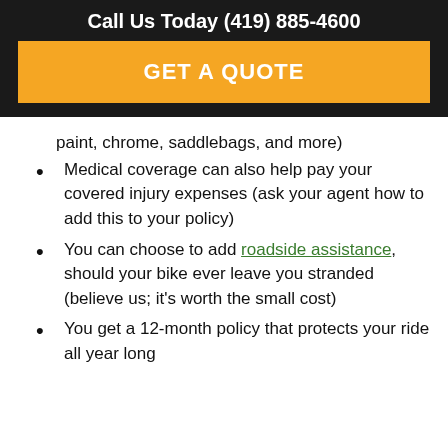Call Us Today (419) 885-4600
GET A QUOTE
paint, chrome, saddlebags, and more)
Medical coverage can also help pay your covered injury expenses (ask your agent how to add this to your policy)
You can choose to add roadside assistance, should your bike ever leave you stranded (believe us; it's worth the small cost)
You get a 12-month policy that protects your ride all year long